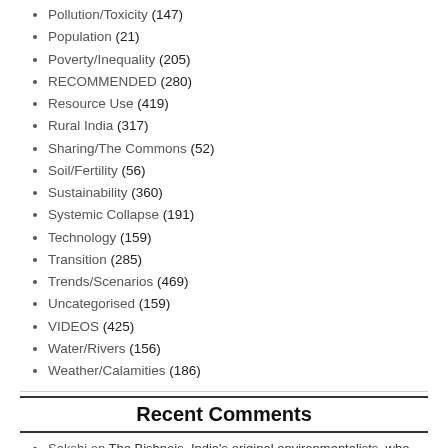Pollution/Toxicity (147)
Population (21)
Poverty/Inequality (205)
RECOMMENDED (280)
Resource Use (419)
Rural India (317)
Sharing/The Commons (52)
Soil/Fertility (56)
Sustainability (360)
Systemic Collapse (191)
Technology (159)
Transition (285)
Trends/Scenarios (469)
Uncategorised (159)
VIDEOS (425)
Water/Rivers (156)
Weather/Calamities (186)
Recent Comments
Sakshi on The Bishnois, India's original environmentalists, who inspired the Chipko movement
Joshna Ravada on Odanthurai – Tamil Nadu's energy self sufficient village
Mohit Negi on Series: Weathering the change – Part 1
Hitarthi Manoibhai Pansuriva on The Bishnois, India's original